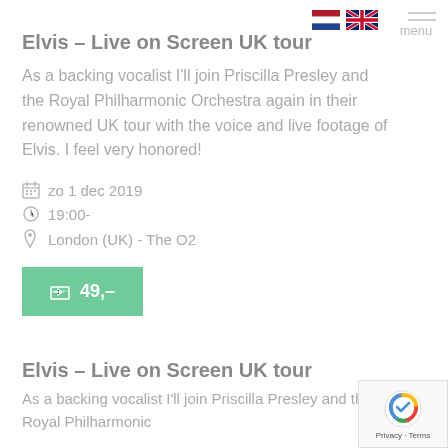[Figure (other): Navigation bar with Netherlands flag, UK flag, and hamburger menu icon with 'menu' label]
Elvis – Live on Screen UK tour
As a backing vocalist I'll join Priscilla Presley and the Royal Philharmonic Orchestra again in their renowned UK tour with the voice and live footage of Elvis. I feel very honored!
zo 1 dec 2019
19:00-
London (UK) - The O2
49,-
Elvis – Live on Screen UK tour
As a backing vocalist I'll join Priscilla Presley and the Royal Philharmonic